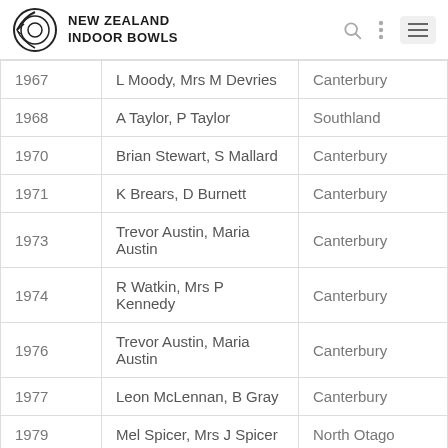NEW ZEALAND INDOOR BOWLS
| Year | Names | Region |
| --- | --- | --- |
| 1967 | L Moody, Mrs M Devries | Canterbury |
| 1968 | A Taylor, P Taylor | Southland |
| 1970 | Brian Stewart, S Mallard | Canterbury |
| 1971 | K Brears, D Burnett | Canterbury |
| 1973 | Trevor Austin, Maria Austin | Canterbury |
| 1974 | R Watkin, Mrs P Kennedy | Canterbury |
| 1976 | Trevor Austin, Maria Austin | Canterbury |
| 1977 | Leon McLennan, B Gray | Canterbury |
| 1979 | Mel Spicer, Mrs J Spicer | North Otago |
| 1981 | William (Bill) Trembath, Janette Lennan | Canterbury |
|  | George Chalmers, Dulcie |  |